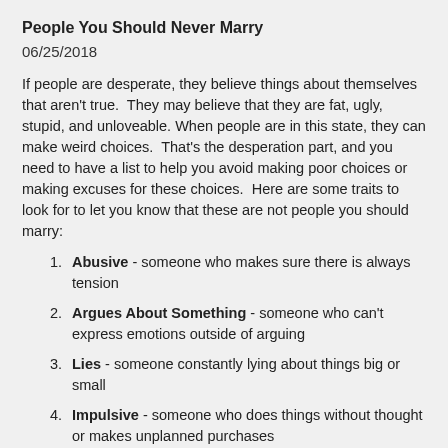People You Should Never Marry
06/25/2018
If people are desperate, they believe things about themselves that aren't true.  They may believe that they are fat, ugly, stupid, and unloveable. When people are in this state, they can make weird choices.  That's the desperation part, and you need to have a list to help you avoid making poor choices or making excuses for these choices.  Here are some traits to look for to let you know that these are not people you should marry:
Abusive - someone who makes sure there is always tension
Argues About Something - someone who can't express emotions outside of arguing
Lies - someone constantly lying about things big or small
Impulsive - someone who does things without thought or makes unplanned purchases